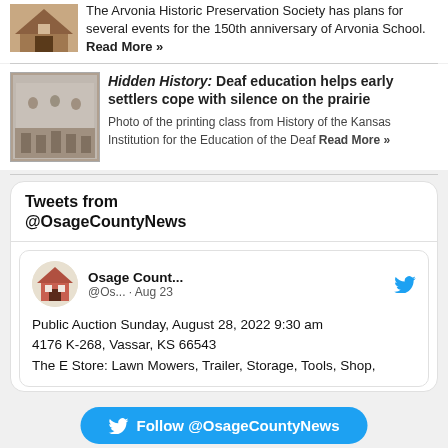The Arvonia Historic Preservation Society has plans for several events for the 150th anniversary of Arvonia School. Read More »
[Figure (photo): Small sepia/warm-toned historic photo of a building]
Hidden History: Deaf education helps early settlers cope with silence on the prairie
Photo of the printing class from History of the Kansas Institution for the Education of the Deaf Read More »
[Figure (photo): Black and white historic photo of a printing class]
Tweets from @OsageCountyNews
Osage Count... @Os... · Aug 23
Public Auction Sunday, August 28, 2022 9:30 am
4176 K-268, Vassar, KS 66543
The E Store: Lawn Mowers, Trailer, Storage, Tools, Shop,
Follow @OsageCountyNews